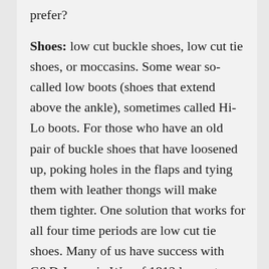prefer?
Shoes: low cut buckle shoes, low cut tie shoes, or moccasins. Some wear so-called low boots (shoes that extend above the ankle), sometimes called Hi-Lo boots. For those who have an old pair of buckle shoes that have loosened up, poking holes in the flaps and tying them with leather thongs will make them tighter. One solution that works for all four time periods are low cut tie shoes. Many of us have success with C&D Jarnagin War of 1812 low cut shoes. Yes, War of 1812, but they look just like any common tie shoe and they are very well made (they better be for the price!)